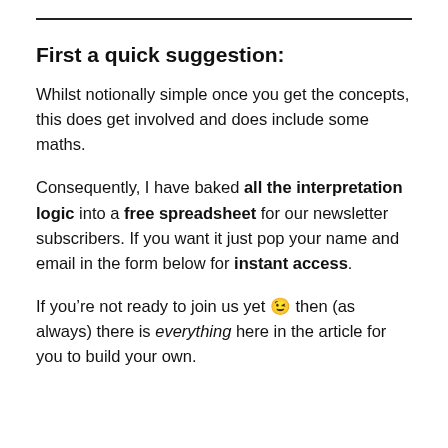First a quick suggestion:
Whilst notionally simple once you get the concepts, this does get involved and does include some maths.
Consequently, I have baked all the interpretation logic into a free spreadsheet for our newsletter subscribers. If you want it just pop your name and email in the form below for instant access.
If you’re not ready to join us yet 😉 then (as always) there is everything here in the article for you to build your own.